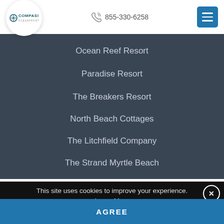Compass Cove Oceanfront Resort | 855-330-6258
Ocean Reef Resort
Paradise Resort
The Breakers Resort
North Beach Cottages
The Litchfield Company
The Strand Myrtle Beach
© Copyright Compass Cove Resort 2022
This site uses cookies to improve your experience. Learn More
AGREE